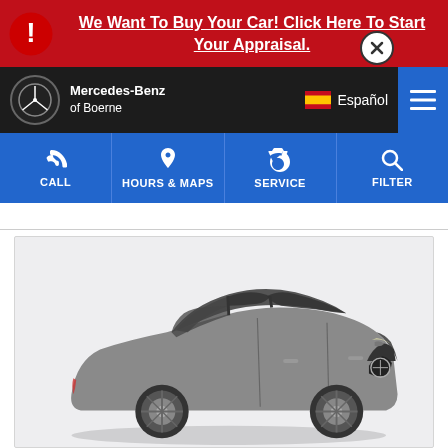We Want To Buy Your Car! Click Here To Start Your Appraisal.
[Figure (screenshot): Mercedes-Benz of Boerne dealership website navigation bar with logo, Español language toggle, and hamburger menu]
[Figure (screenshot): Blue action bar with CALL, HOURS & MAPS, SERVICE, FILTER buttons]
[Figure (photo): Gray Mercedes-Benz CLA sedan shown from front-right three-quarter angle on light gray background]